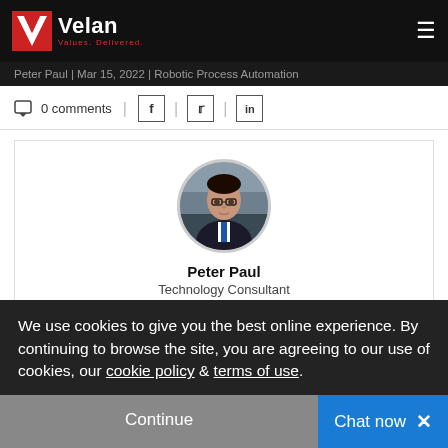Velan — Values. Delivered. [Navigation bar with logo and hamburger menu]
Peter Paul | Mar 15, 2022 | Robotic Process Automation
0 comments [Facebook] [Twitter] [LinkedIn]
[Figure (photo): Circular portrait photo of Peter Paul, a man in a suit and tie]
Peter Paul
Technology Consultant
About the Author:
We use cookies to give you the best online experience. By continuing to browse the site, you are agreeing to our use of cookies, our cookie policy & terms of use.
Continue   Chat now  ×